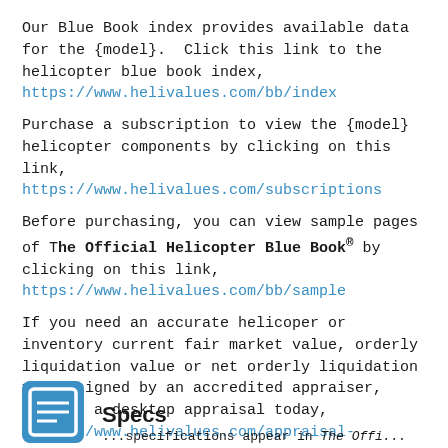Our Blue Book index provides available data for the {model}.  Click this link to the helicopter blue book index, https://www.helivalues.com/bb/index
Purchase a subscription to view the {model} helicopter components by clicking on this link, https://www.helivalues.com/subscriptions
Before purchasing, you can view sample pages of The Official Helicopter Blue Book® by clicking on this link, https://www.helivalues.com/bb/sample
If you need an accurate helicoper or inventory current fair market value, orderly liquidation value or net orderly liquidation value signed by an accredited appraiser, request a desktop appraisal today,  https://www.helivalues.com/appraisal-requests
Specs